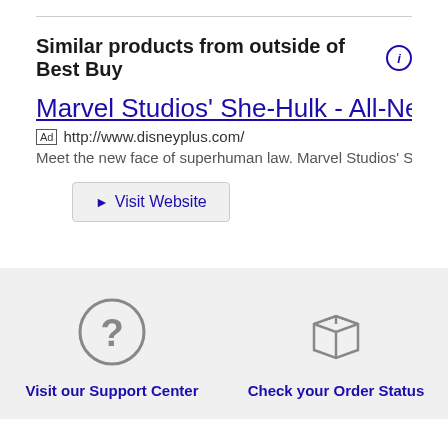Similar products from outside of Best Buy ℹ
Marvel Studios' She-Hulk - All-New Original Serie…
Ad http://www.disneyplus.com/
Meet the new face of superhuman law. Marvel Studios' She Hulk: Atto…
► Visit Website
[Figure (infographic): Question mark circle icon for Visit our Support Center]
Visit our Support Center
[Figure (infographic): Package/box icon for Check your Order Status]
Check your Order Status